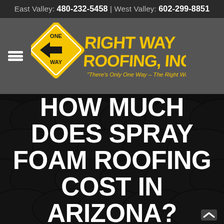East Valley: 480-232-5458 | West Valley: 602-299-8851
[Figure (logo): Right Way Roofing, Inc. logo with a yellow diamond-shaped one-way sign and bold yellow text reading RIGHT WAY ROOFING, INC. with tagline: "There's Only One Way - The Right Way"]
HOW MUCH DOES SPRAY FOAM ROOFING COST IN ARIZONA?